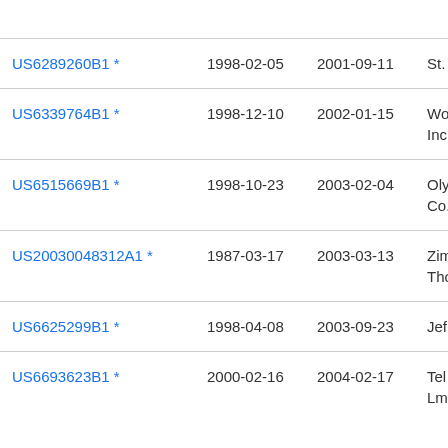| Patent ID | Filing Date | Publication Date | Assignee |
| --- | --- | --- | --- |
| US6289260B1 * | 1998-02-05 | 2001-09-11 | St. |
| US6339764B1 * | 1998-12-10 | 2002-01-15 | Wo Inc |
| US6515669B1 * | 1998-10-23 | 2003-02-04 | Oly Co. |
| US20030048312A1 * | 1987-03-17 | 2003-03-13 | Zim Tho |
| US6625299B1 * | 1998-04-08 | 2003-09-23 | Jef |
| US6693623B1 * | 2000-02-16 | 2004-02-17 | Tel Lm |